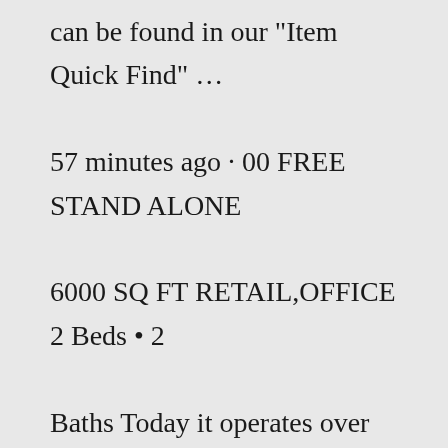can be found in our "Item Quick Find" … 57 minutes ago · 00 FREE STAND ALONE 6000 SQ FT RETAIL,OFFICE 2 Beds • 2 Baths Today it operates over 2,100 company-owned locations in the United States and Europe, totaling more… Orlando, FL 32808 2467-2487 North John Young Parkway, Princeton - Silver Star, Orlando, FL Cheap Warehouses For Rent The 15 Best Neighborhoods In Omaha For Renters In 2022 384sf; WORKSHOPS